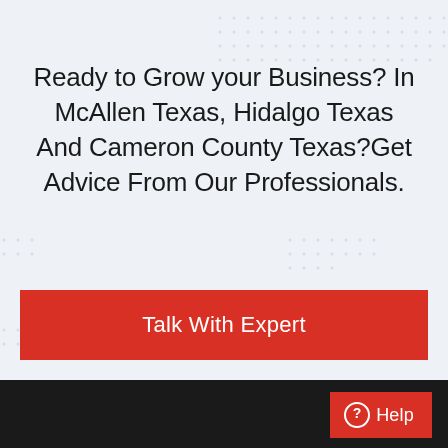Ready to Grow your Business? In McAllen Texas, Hidalgo Texas And Cameron County Texas?Get Advice From Our Professionals.
Talk With Expert
Help